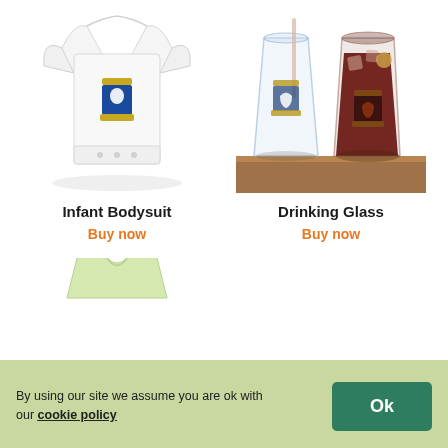[Figure (photo): White infant bodysuit with a heraldic shield crest design printed on the front]
[Figure (photo): Two drinking glasses with a heraldic wolf crest design, one clear and one filled with dark red drink and ice]
Infant Bodysuit
Buy now
Drinking Glass
Buy now
[Figure (photo): Partially visible t-shirt product at the bottom of the page, cut off by cookie banner]
By using our site we assume you are ok with our cookie policy